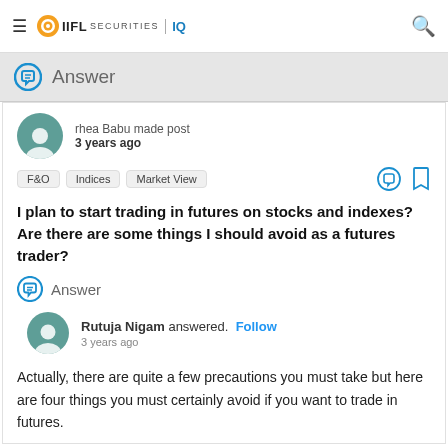IIFL Securities IQ
Answer
rhea Babu made post
3 years ago
F&O   Indices   Market View
I plan to start trading in futures on stocks and indexes? Are there are some things I should avoid as a futures trader?
Answer
Rutuja Nigam answered.  Follow
3 years ago
Actually, there are quite a few precautions you must take but here are four things you must certainly avoid if you want to trade in futures.